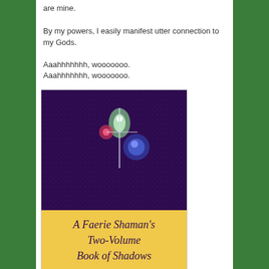are mine.
By my powers, I easily manifest utter connection to my Gods.
Aaahhhhhhh, wooooooo.
Aaahhhhhhh, wooooooo.
[Figure (illustration): Book cover for 'A Faerie Shaman's Two-Volume Book of Shadows' with dark purple starry background in upper portion, gold/yellow text section in middle reading 'A Faerie Shaman's Two-Volume Book of Shadows', and dark purple bottom section with gold text reading 'Click here']